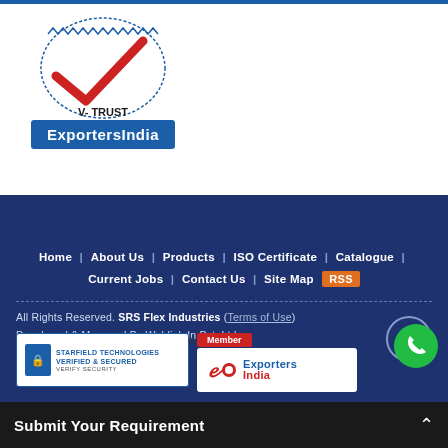[Figure (logo): V-TRUST logo with zigzag border and red checkmark, above blue ExportersIndia badge]
Home | About Us | Products | ISO Certificate | Catalogue | Current Jobs | Contact Us | Site Map RSS
All Rights Reserved. SRS Flex Industries (Terms of Use) Developed & Managed By Weblink.In Pvt. Ltd.
[Figure (logo): Starfield Technologies Verified & Secured badge]
[Figure (logo): ExportersIndia Member badge]
Submit Your Requirement